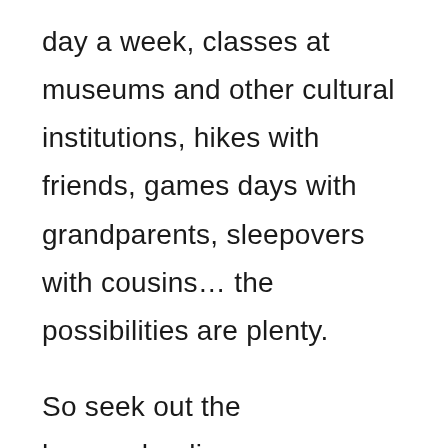day a week, classes at museums and other cultural institutions, hikes with friends, games days with grandparents, sleepovers with cousins… the possibilities are plenty.
So seek out the homeschooling groups or families in your area to discover what's available. What social opportunities are in your area for playing with and getting together with friends?